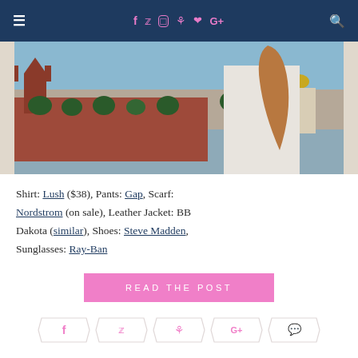Navigation bar with hamburger menu, social icons (Facebook, Twitter, Instagram, Pinterest, Heart, Google+), and search icon
[Figure (photo): Woman with long brown hair wearing a white shirt, standing in front of a red brick wall and buildings with golden domes (Moscow Kremlin area). Trees visible in background.]
Shirt: Lush ($38), Pants: Gap, Scarf: Nordstrom (on sale), Leather Jacket: BB Dakota (similar), Shoes: Steve Madden, Sunglasses: Ray-Ban
READ THE POST
Social share icons: Facebook, Twitter, Pinterest, Google+, Comment